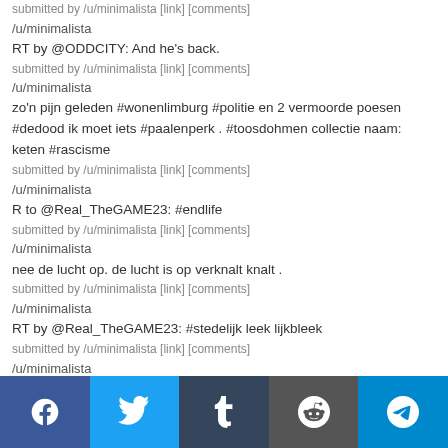submitted by /u/minimalista [link] [comments]
/u/minimalista
RT by @ODDCITY: And he's back.
submitted by /u/minimalista [link] [comments]
/u/minimalista
zo'n pijn geleden #wonenlimburg #politie en 2 vermoorde poesen #dedood ik moet iets #paalenperk . #toosdohmen collectie naam: keten #rascisme
submitted by /u/minimalista [link] [comments]
/u/minimalista
R to @Real_TheGAME23: #endlife
submitted by /u/minimalista [link] [comments]
/u/minimalista
nee de lucht op. de lucht is op verknalt knalt .
submitted by /u/minimalista [link] [comments]
/u/minimalista
RT by @Real_TheGAME23: #stedelijk leek lijkbleek
submitted by /u/minimalista [link] [comments]
/u/minimalista
Facebook Twitter Tumblr Reddit Telegram